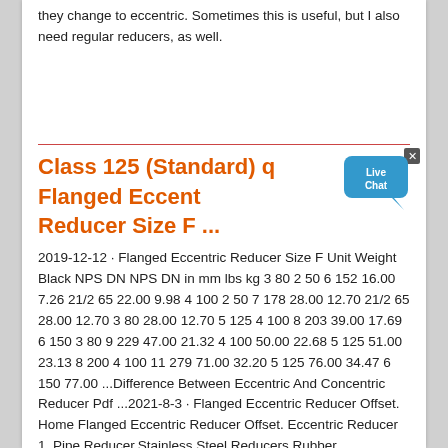they change to eccentric. Sometimes this is useful, but I also need regular reducers, as well.
Class 125 (Standard) q Flanged Eccentric Reducer Size F ...
2019-12-12 · Flanged Eccentric Reducer Size F Unit Weight Black NPS DN NPS DN in mm lbs kg 3 80 2 50 6 152 16.00 7.26 21/2 65 22.00 9.98 4 100 2 50 7 178 28.00 12.70 21/2 65 28.00 12.70 3 80 28.00 12.70 5 125 4 100 8 203 39.00 17.69 6 150 3 80 9 229 47.00 21.32 4 100 50.00 22.68 5 125 51.00 23.13 8 200 4 100 11 279 71.00 32.20 5 125 76.00 34.47 6 150 77.00 ...Difference Between Eccentric And Concentric Reducer Pdf ...2021-8-3 · Flanged Eccentric Reducer Offset. Home Flanged Eccentric Reducer Offset. Eccentric Reducer 1. Pipe Reducer,Stainless Steel Reducers,Rubber … Eccentric reducer: the central axis has a different offset between a large section and small. Buttweld Reducer and Cap -